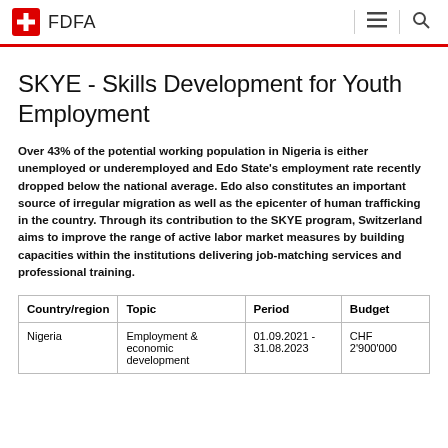FDFA
SKYE - Skills Development for Youth Employment
Over 43% of the potential working population in Nigeria is either unemployed or underemployed and Edo State's employment rate recently dropped below the national average. Edo also constitutes an important source of irregular migration as well as the epicenter of human trafficking in the country. Through its contribution to the SKYE program, Switzerland aims to improve the range of active labor market measures by building capacities within the institutions delivering job-matching services and professional training.
| Country/region | Topic | Period | Budget |
| --- | --- | --- | --- |
| Nigeria | Employment &
economic development | 01.09.2021 -
31.08.2023 | CHF
2'900'000 |